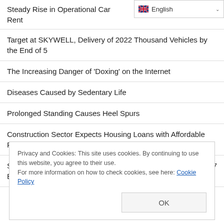Steady Rise in Operational Car Rent
Target at SKYWELL, Delivery of 2022 Thousand Vehicles by the End of 5
The Increasing Danger of 'Doxing' on the Internet
Diseases Caused by Sedentary Life
Prolonged Standing Causes Heel Spurs
Construction Sector Expects Housing Loans with Affordable Rates
Seven-Month Revenue of China Telecom Sector Exceeds $137 Billion
Privacy and Cookies: This site uses cookies. By continuing to use this website, you agree to their use.
For more information on how to check cookies, see here: Cookie Policy
OK